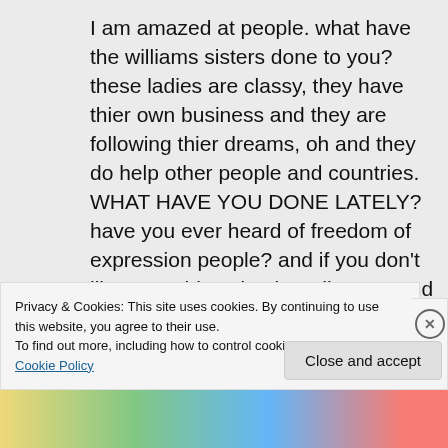I am amazed at people. what have the williams sisters done to you? these ladies are classy, they have thier own business and they are following thier dreams, oh and they do help other people and countries. WHAT HAVE YOU DONE LATELY? have you ever heard of freedom of expression people? and if you don't like something simply walk away and don't look. GET A LIFE
Privacy & Cookies: This site uses cookies. By continuing to use this website, you agree to their use.
To find out more, including how to control cookies, see here: Cookie Policy
Close and accept